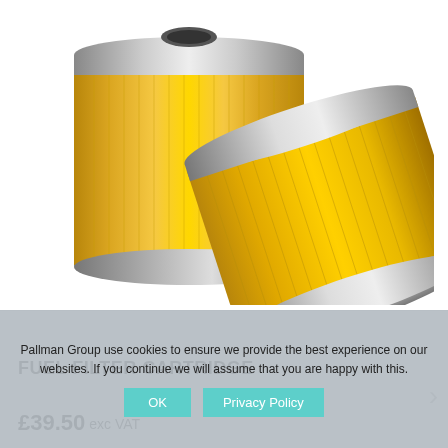[Figure (photo): Two cylindrical fuel filter cartridges with gold/yellow pleated filter media and silver metallic end caps. One filter stands upright on the left, another lies tilted to the right showing its flat bottom end cap.]
Pallman Group use cookies to ensure we provide the best experience on our websites. If you continue we will assume that you are happy with this.
FUEL FILTER CARTRIDGE
£39.50 exc VAT